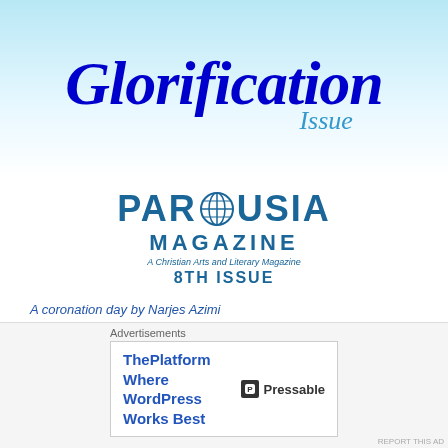[Figure (illustration): Banner header showing 'The Glorification Issue' in decorative italic blue script on a blue and white gradient background]
[Figure (logo): Parousia Magazine logo with globe icon, subtitle 'A Christian Arts and Literary Magazine', 8TH ISSUE]
A coronation day by Narjes Azimi
MAR 30, 2018 / PAROUSIA MAGAZINE
A coronation day It's a coronation day for Jesus Its coronation day of incarnation Incarnation for new evils, remodeled Lucifer And Still Jesus is the same Messiah Coronation with thorns, seems good on him And it will be though These… Continue reading
Advertisements
ThePlatform Where WordPress Works Best   Pressable